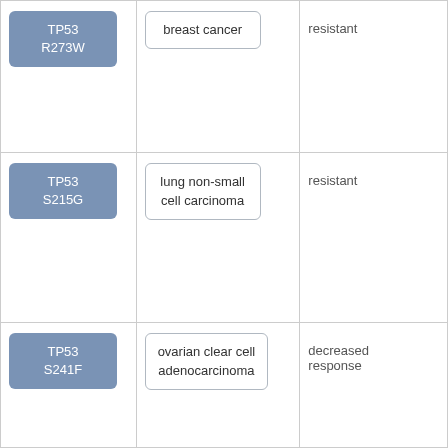| Mutation | Cancer Type | Response |
| --- | --- | --- |
| TP53 R273W | breast cancer | resistant |
| TP53 S215G | lung non-small cell carcinoma | resistant |
| TP53 S241F | ovarian clear cell adenocarcinoma | decreased response |